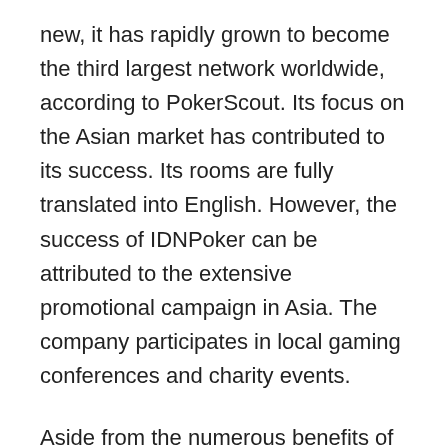new, it has rapidly grown to become the third largest network worldwide, according to PokerScout. Its focus on the Asian market has contributed to its success. Its rooms are fully translated into English. However, the success of IDNPoker can be attributed to the extensive promotional campaign in Asia. The company participates in local gaming conferences and charity events.
Aside from the numerous benefits of playing poker online, the convenience it offers also helps it to be accessible at any time. Regardless of the time of day, playing poker